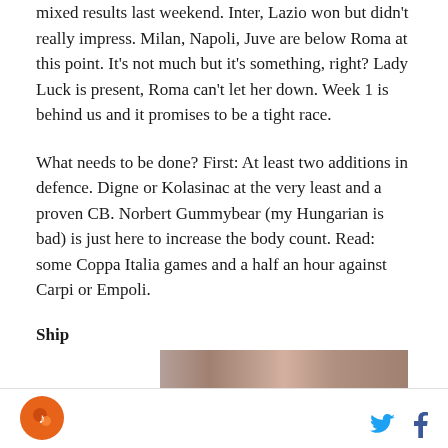mixed results last weekend. Inter, Lazio won but didn't really impress. Milan, Napoli, Juve are below Roma at this point. It's not much but it's something, right? Lady Luck is present, Roma can't let her down. Week 1 is behind us and it promises to be a tight race.
What needs to be done? First: At least two additions in defence. Digne or Kolasinac at the very least and a proven CB. Norbert Gummybear (my Hungarian is bad) is just here to increase the body count. Read: some Coppa Italia games and a half an hour against Carpi or Empoli.
Ship
[Figure (photo): Partial image/photo strip visible at the bottom of the content area, showing reddish-brown tones]
Footer with site logo (orange circle with icon) on the left, and Twitter and Facebook social icons on the right